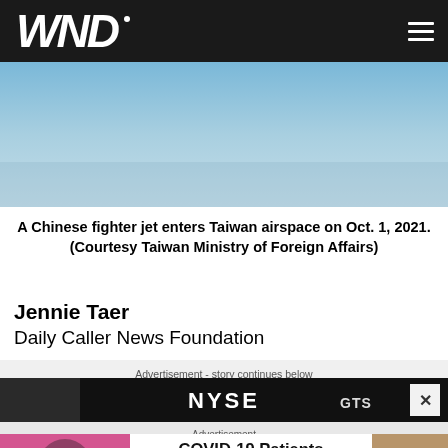WND
[Figure (photo): Light blue sky background, hero/banner image for article]
A Chinese fighter jet enters Taiwan airspace on Oct. 1, 2021. (Courtesy Taiwan Ministry of Foreign Affairs)
Jennie Taer
Daily Caller News Foundation
Advertisement - story continues below
[Figure (photo): NYSE advertisement banner, dark background with NYSE text and GTS brand]
Advertisement
[Figure (photo): COVID-19 Patients Experience Hair Loss After Infection - Herbeauty advertisement with woman touching hair image and crocodile/reptile image]
COVID-19 Patients Experience Hair Loss After Infection
Herbeauty